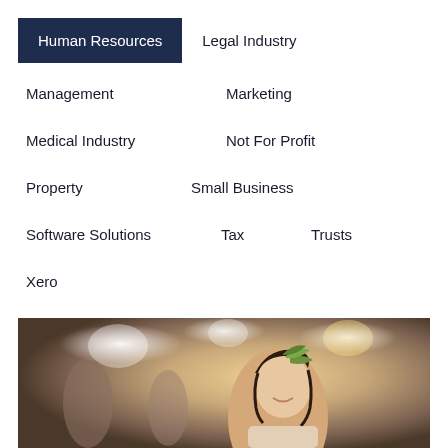Human Resources
Legal Industry
Management
Marketing
Medical Industry
Not For Profit
Property
Small Business
Software Solutions
Tax
Trusts
Xero
[Figure (photo): A smiling young woman with dark hair and a decorative leaf pattern at a venue, with blurred people and warm lighting in background]